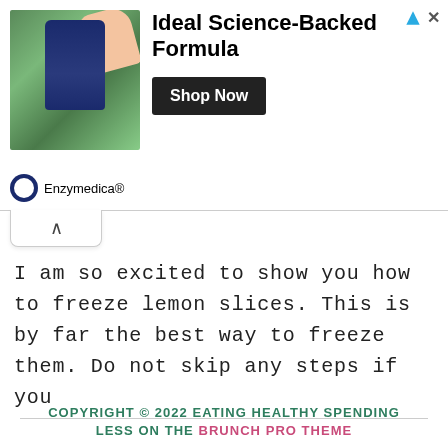[Figure (other): Advertisement banner for Enzymedica with a green background photo of a hand holding a supplement bottle, bold headline 'Ideal Science-Backed Formula', a 'Shop Now' button, and the Enzymedica® brand logo.]
I am so excited to show you how to freeze lemon slices. This is by far the best way to freeze them. Do not skip any steps if you
COPYRIGHT © 2022 EATING HEALTHY SPENDING LESS ON THE BRUNCH PRO THEME